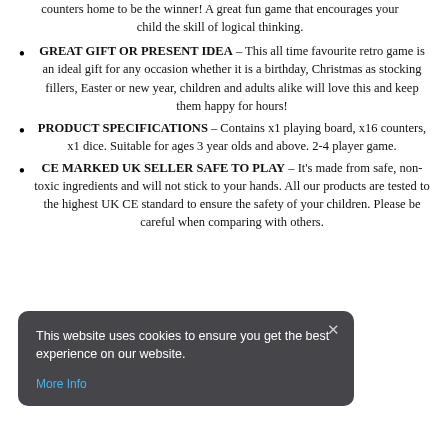counters home to be the winner! A great fun game that encourages your child the skill of logical thinking.
GREAT GIFT OR PRESENT IDEA – This all time favourite retro game is an ideal gift for any occasion whether it is a birthday, Christmas as stocking fillers, Easter or new year, children and adults alike will love this and keep them happy for hours!
PRODUCT SPECIFICATIONS – Contains x1 playing board, x16 counters, x1 dice. Suitable for ages 3 year olds and above. 2-4 player game.
CE MARKED UK SELLER SAFE TO PLAY – It's made from safe, non-toxic ingredients and will not stick to your hands. All our products are tested to the highest UK CE standard to ensure the safety of your children. Please be careful when comparing with others.
This website uses cookies to ensure you get the best experience on our website.
More Info